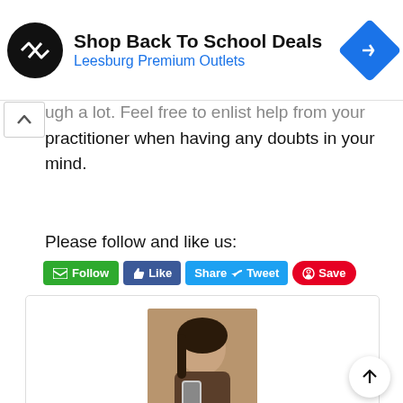[Figure (screenshot): Advertisement banner: Shop Back To School Deals - Leesburg Premium Outlets with black circular logo and blue diamond arrow icon]
...ugh a lot. Feel free to enlist help from your practitioner when having any doubts in your mind.
Please follow and like us:
[Figure (screenshot): Social share buttons: green Follow, blue Like, blue Share/Tweet, red Save]
[Figure (photo): Profile photo of Olivia - a young woman taking a selfie]
Olivia
Specialized Contributor-